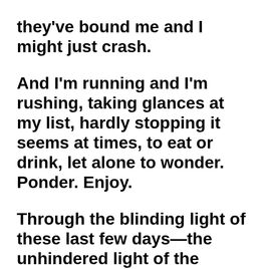they've bound me and I might just crash. And I'm running and I'm rushing, taking glances at my list, hardly stopping it seems at times, to eat or drink, let alone to wonder. Ponder. Enjoy. Through the blinding light of these last few days—the unhindered light of the winter sun glaring off mountains of snow —I've tried to stand back and look. To